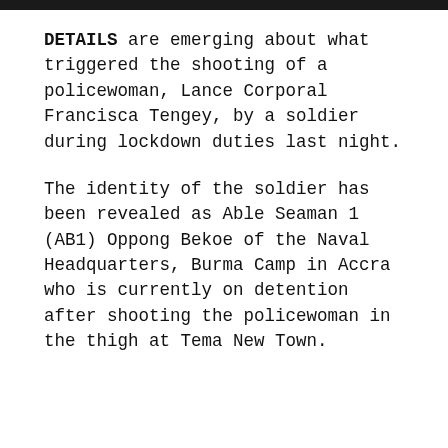DETAILS are emerging about what triggered the shooting of a policewoman, Lance Corporal Francisca Tengey, by a soldier during lockdown duties last night.
The identity of the soldier has been revealed as Able Seaman 1 (AB1) Oppong Bekoe of the Naval Headquarters, Burma Camp in Accra who is currently on detention after shooting the policewoman in the thigh at Tema New Town.